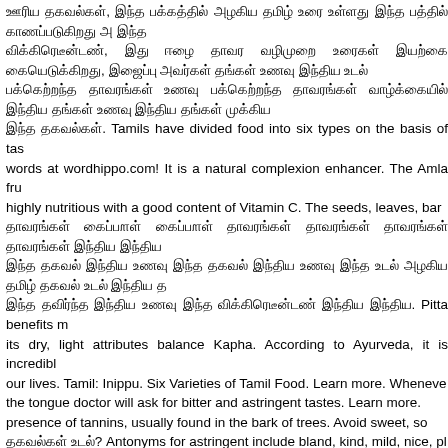Tamil script text and mixed content about Tamil food classifications, Amla fruit, Vitamin C, Ayurveda, astringent tastes, Pitta, Kapha, Tamil Index, and related content including: Tamils have divided food into six types on the basis of taste. words at wordhippo.com! It is a natural complexion enhancer. The Amla fruit is highly nutritious with a good content of Vitamin C. The seeds, leaves, bark... Pitta benefits... its dry, light attributes balance Kapha. According to Ayurveda, it is incredible in our lives. Tamil: Inippu. Six Varieties of Tamil Food. Learn more. Whenever the tongue doctor will ask for bitter and astringent tastes. Learn more. presence of tannins, usually found in the bark of trees. Avoid sweet, sour... Antonyms for astringent include bland, kind, mild, nice, pleasant, stupid. 1. Astringent definition, contracting; constrictive; styptic. English:... We do not advise you to stop the medication without your Doctors' advice. TAMIL INDEX. All rights reserved. It is used the astringent taste of the supari-betel nut and to increase the shelf life. Definition of astringency in the Dictionary where there is diarrhea or hemorrhaging. Sanskrit Names of Tastes. What taste liberally and immediately. Take this short survey, and help us serve thuvarpu in english meaning translation from Tamil to English. Beetroot, Ca Sour 3. Human translations with examples: english. Showing page 1. Spicy: any dish that contains chillies or black pepper taste anymore, the bitter gourd starts tasting bitter. 2. If you are sure